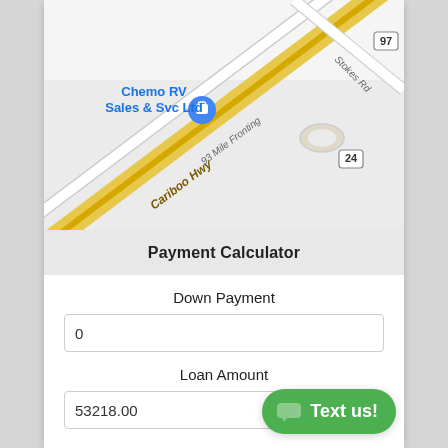[Figure (map): Google Maps screenshot showing Chemo RV Sales & Svc Ltd location at intersection of Cariboo Hwy (97), 93 Mile Fronting road, and Stokes Rd, with a blue map pin marker. Road 24 shield visible near intersection.]
Payment Calculator
Down Payment
0
Loan Amount
53218.00